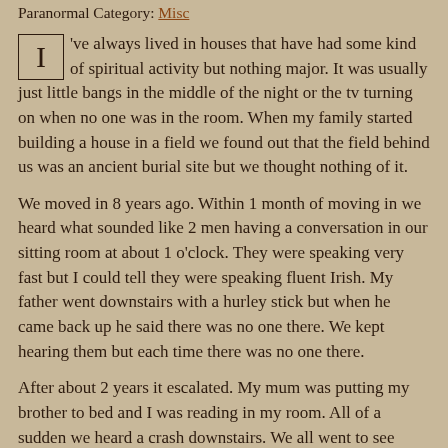Paranormal Category: Misc
I've always lived in houses that have had some kind of spiritual activity but nothing major. It was usually just little bangs in the middle of the night or the tv turning on when no one was in the room. When my family started building a house in a field we found out that the field behind us was an ancient burial site but we thought nothing of it.
We moved in 8 years ago. Within 1 month of moving in we heard what sounded like 2 men having a conversation in our sitting room at about 1 o'clock. They were speaking very fast but I could tell they were speaking fluent Irish. My father went downstairs with a hurley stick but when he came back up he said there was no one there. We kept hearing them but each time there was no one there.
After about 2 years it escalated. My mum was putting my brother to bed and I was reading in my room. All of a sudden we heard a crash downstairs. We all went to see what happened. At the top of the stairs we could all see. A picture of my brother that was in the sitting room was lying smashed in the hall. After that me and my brother started having nightmares. They were similar. We both dreamt of 2 men and a small child with their faces covered in